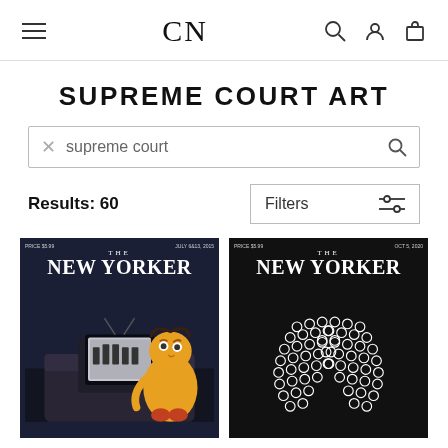CN — navigation header with hamburger menu, CN logo, search, account, and cart icons
SUPREME COURT ART
supreme court (search input)
Results: 60
[Figure (screenshot): The New Yorker magazine cover, July 6-13, 2015. Dark scene with Sesame Street Muppet character (Bert or Ernie) watching a television showing the Supreme Court justices. Dark moody living room setting.]
[Figure (screenshot): The New Yorker magazine cover, Oct 5, 2020. Black background with white pattern forming the shape of Ruth Bader Ginsburg's iconic lace collar/jabot made of circles and rings.]